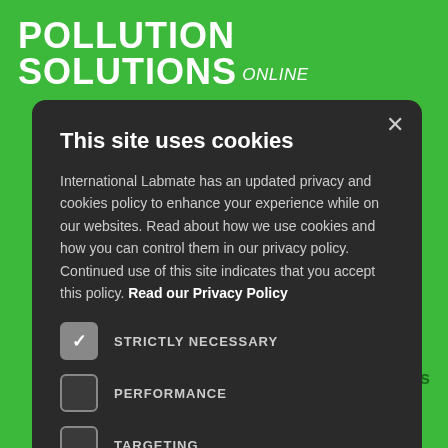POLLUTION SOLUTIONS Online
This site uses cookies
International Labmate has an updated privacy and cookies policy to enhance your experience while on our websites. Read about how we use cookies and how you can control them in our privacy policy. Continued use of this site indicates that you accept this policy. Read our Privacy Policy
STRICTLY NECESSARY (checked)
PERFORMANCE (unchecked)
TARGETING (unchecked)
I AGREE
DECLINE ALL
SHOW DETAILS
All rights